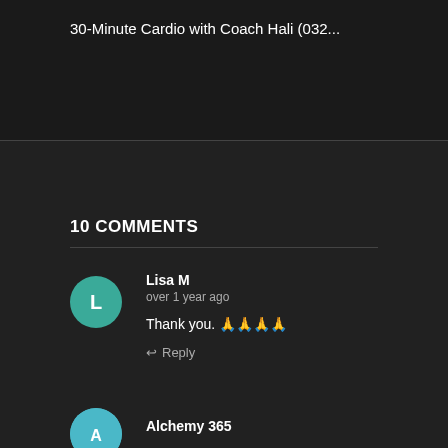30-Minute Cardio with Coach Hali (032...
10 COMMENTS
Lisa M
over 1 year ago
Thank you. 🙏🙏🙏🙏
Reply
Alchemy 365